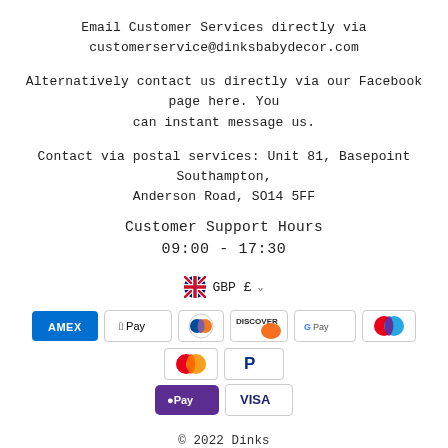Email Customer Services directly via customerservice@dinksbabydecor.com
Alternatively contact us directly via our Facebook page here. You can instant message us.
Contact via postal services: Unit 81, Basepoint Southampton, Anderson Road, SO14 5FF
Customer Support Hours
09:00 - 17:30
[Figure (infographic): GBP £ currency selector with UK flag icon and dropdown chevron, followed by payment method icons: Amex, Apple Pay, Diners Club, Discover, Google Pay, Mastercard (two variants), PayPal, OPay, Visa]
© 2022 Dinks